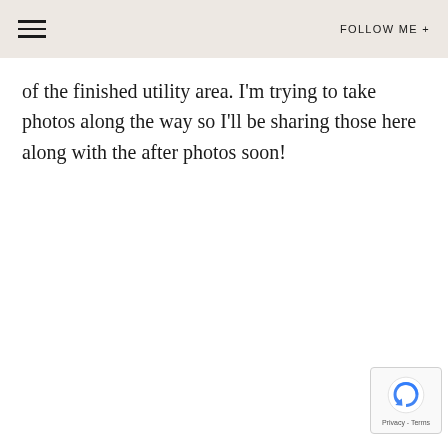FOLLOW ME +
of the finished utility area. I'm trying to take photos along the way so I'll be sharing those here along with the after photos soon!
[Figure (logo): reCAPTCHA badge with Privacy and Terms links]